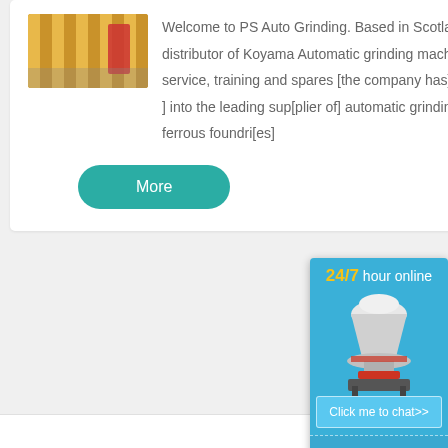[Figure (photo): Photo of yellow industrial grinding machine]
Welcome to PS Auto Grinding. Based in Scotland and formed in 2001, PSAG is the sole distributor of Koyama Automatic grinding machines across Europe. Providing machines, service, training and spares [the company has] grown from modest [beginnings] into the leading sup[plier of] automatic grinding [machines]. Currently supplying [to] non-ferrous foundri[es]
[Figure (screenshot): 24/7 hour online chat widget overlay showing a cone crusher machine image and a 'Click me to chat>>' button]
More
Enquiry
cvvvsitml@gmails